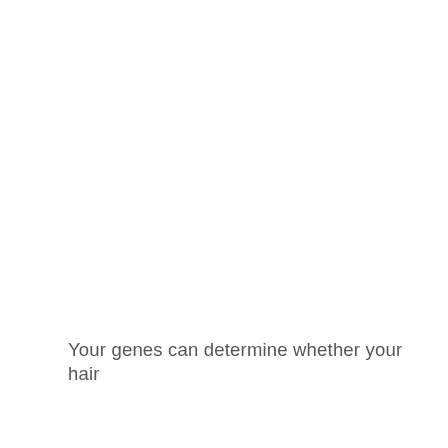Your genes can determine whether your hair